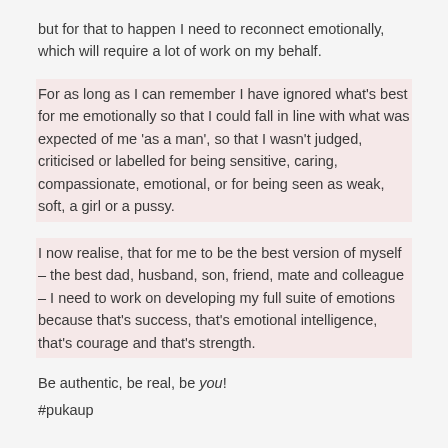but for that to happen I need to reconnect emotionally, which will require a lot of work on my behalf.
For as long as I can remember I have ignored what's best for me emotionally so that I could fall in line with what was expected of me 'as a man', so that I wasn't judged, criticised or labelled for being sensitive, caring, compassionate, emotional, or for being seen as weak, soft, a girl or a pussy.
I now realise, that for me to be the best version of myself – the best dad, husband, son, friend, mate and colleague – I need to work on developing my full suite of emotions because that's success, that's emotional intelligence, that's courage and that's strength.
Be authentic, be real, be you!
#pukaup